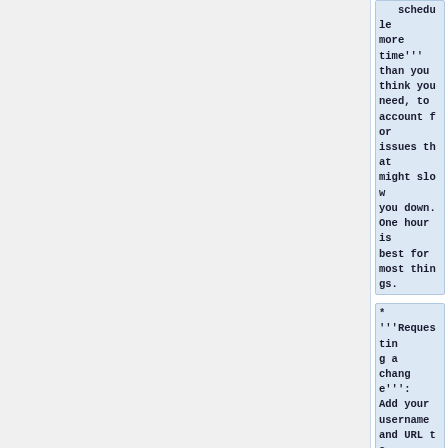schedule more time''' than you think you need, to account for issues that might slow you down. One hour is best for most things.
* '''Requesting a change''': Add your username and URL to Gerrit patch in